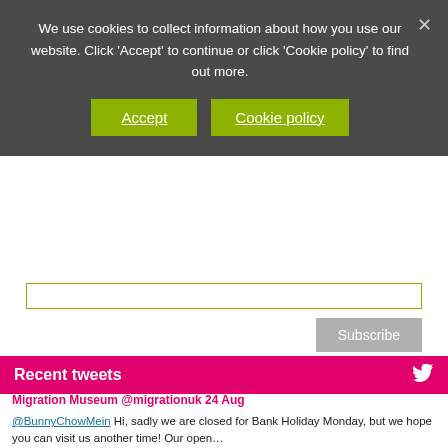We use cookies to collect information about how you use our website. Click 'Accept' to continue or click 'Cookie policy' to find out more.
Accept
Cookie policy
Recent tweets
Migration Museum @migrationuk 24 Aug
@BunnyChowMein Hi, sadly we are closed for Bank Holiday Monday, but we hope you can visit us another time! Our open… https://t.co/Hvxl320X8o
MIGRATION MUSEUM
LEWISHAM SHOPPING CENTRE